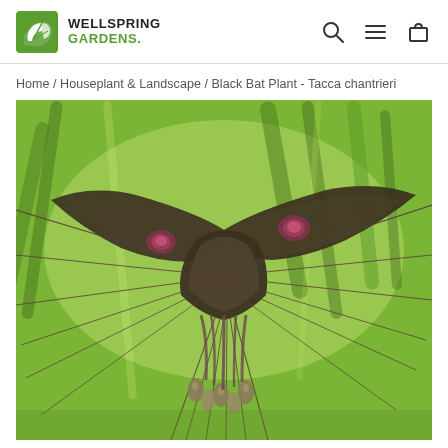Wellspring Gardens — navigation header with logo, search, menu, and cart icons
Home / Houseplant & Landscape / Black Bat Plant - Tacca chantrieri
[Figure (photo): Close-up photograph of a Black Bat Plant (Tacca chantrieri) showing dark brownish-black bat-shaped bracts with long whisker-like filaments and small pink-centered flowers, against a blurred green leafy background.]